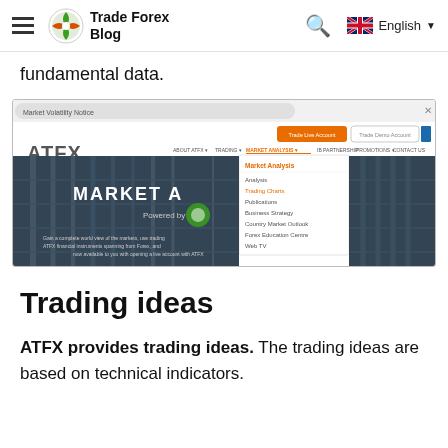Trade Forex Blog — English
fundamental data.
[Figure (screenshot): Screenshot of the ATFX website showing the Market Analysis navigation menu expanded, with a dropdown revealing options: Market Analysis, Analysis, Trading Charts, Publications, Business Strategy, Country Market Outlook, Forex Education Centre, Web TV. The banner reads MARKET A[nalysis] Powered by [logo]. A city skyline with glass buildings is visible in the background.]
Trading ideas
ATFX provides trading ideas. The trading ideas are based on technical indicators.